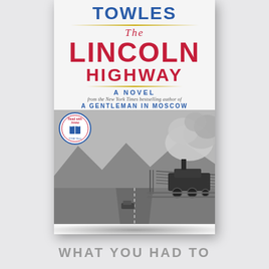[Figure (illustration): Book cover of 'The Lincoln Highway' by Amor Towles. White background cover with author name 'TOWLES' in large blue letters at top, followed by 'The' in red italic script, then 'LINCOLN' in large red block letters, 'HIGHWAY' in smaller red block letters. Gold horizontal lines accent the design. Subtitle reads 'A NOVEL' in blue, then italic text 'from the New York Times bestselling author of' then 'A GENTLEMAN IN MOSCOW' in blue caps. Lower half shows a black-and-white photograph of a steam locomotive at a railroad crossing with a road stretching into the distance. A 'Read with Jenna' circular badge overlays the photo.]
WHAT YOU HAD TO